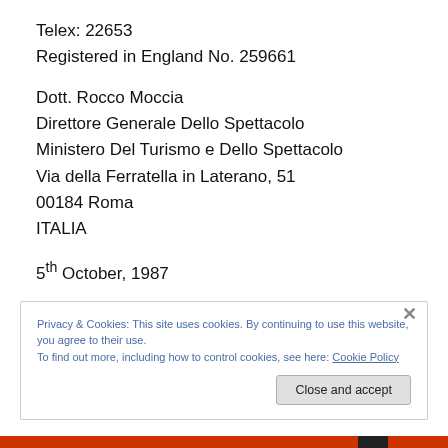Telex: 22653
Registered in England No. 259661
Dott. Rocco Moccia
Direttore Generale Dello Spettacolo
Ministero Del Turismo e Dello Spettacolo
Via della Ferratella in Laterano, 51
00184 Roma
ITALIA
5th October, 1987
Privacy & Cookies: This site uses cookies. By continuing to use this website, you agree to their use.
To find out more, including how to control cookies, see here: Cookie Policy